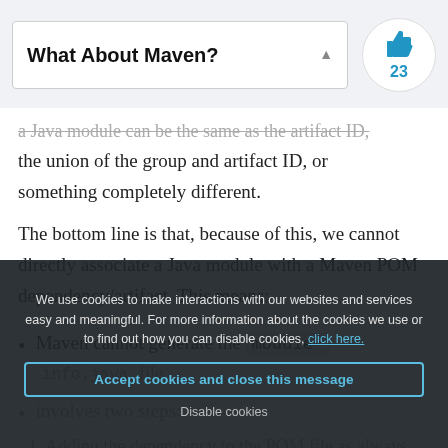What About Maven?
a Java module can be the same as the artifact ID, the union of the group and artifact ID, or something completely different.
The bottom line is that, because of this, we cannot directly associate a Java module with a Maven POM dependency/artifact. This means:
Maven cannot generate the module-info.java file.
involves two steps:
1. Adding the dependency to the POM file as always. This dependency can be modularized or not, it does not matter for this step.
We use cookies to make interactions with our websites and services easy and meaningful. For more information about the cookies we use or to find out how you can disable cookies, click here.
Accept cookies and close this message
Disable cookies